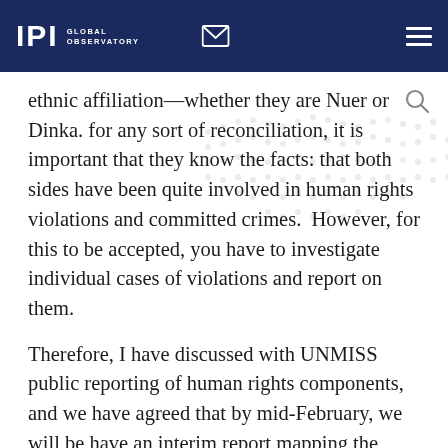IPI GLOBAL OBSERVATORY
ethnic affiliation—whether they are Nuer or Dinka. So for any sort of reconciliation, it is important that they know the facts: that both sides have been quite involved in human rights violations and committed crimes. However, for this to be accepted, you have to investigate individual cases of violations and report on them.
Therefore, I have discussed with UNMISS public reporting of human rights components, and we have agreed that by mid-February, we will be have an interim report mapping the violations of human rights, which require additional human rights investigation. We have also agreed that a comprehensive report on human rights violations committed after December 15, 2013 will be